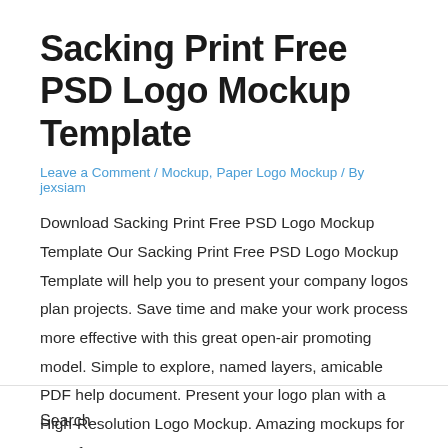Sacking Print Free PSD Logo Mockup Template
Leave a Comment / Mockup, Paper Logo Mockup / By jexsiam
Download Sacking Print Free PSD Logo Mockup Template Our Sacking Print Free PSD Logo Mockup Template will help you to present your company logos plan projects. Save time and make your work process more effective with this great open-air promoting model. Simple to explore, named layers, amicable PDF help document. Present your logo plan with a High-Resolution Logo Mockup. Amazing mockups for any of …
Read More »
Search